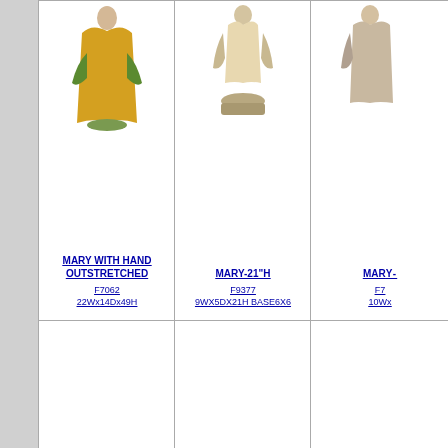[Figure (photo): Statue of Mary with hand outstretched, wearing green and yellow robes]
MARY WITH HAND OUTSTRETCHED
F7062
22Wx14Dx49H
[Figure (photo): Statue of Mary-21 inch height, beige/natural stone color]
MARY-21"H
F9377
9WX5DX21H BASE6X6
[Figure (photo): Partial view of a third Mary statue on the right, cut off]
MARY-
F7
10Wx
MARY-42"H
F9031
19WX13DX42H
MARY-56"H
F9080
23WX18DX56H
MADONNA
F7